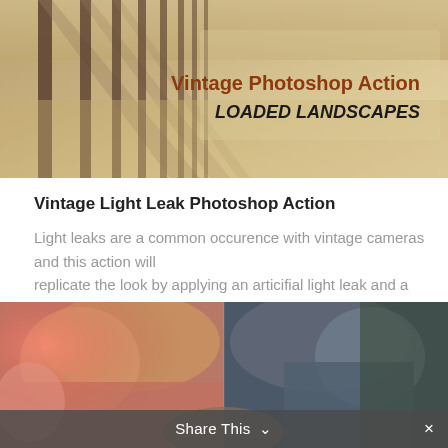[Figure (photo): Banner image showing wooden pier/dock posts casting shadows on sandy beach with warm vintage tone, overlaid with text 'Vintage Photoshop Action LOADED LANDSCAPES']
Vintage Light Leak Photoshop Action
Light leaks are a common occurence with vintage cameras and this action will
replicate the look by applying an articifial light leak and a vintage effect.
[Figure (photo): Split photo showing a girl with long blonde hair, left half with warm vintage pinkish-red light leak effect, right half with cool teal-grey vintage effect]
Share This  ∨